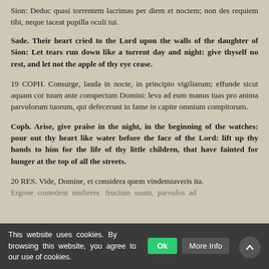Sion: Deduc quasi torrentem lacrimas per diem et noctem; non des requiem tibi, neque taceat pupilla oculi tui.
Sade. Their heart cried to the Lord upon the walls of the daughter of Sion: Let tears run down like a torrent day and night: give thyself no rest, and let not the apple of thy eye cease.
19 COPH. Consurge, lauda in nocte, in principio vigiliarum; effunde sicut aquam cor tuum ante conspectum Domini: leva ad eum manus tuas pro anima parvulorum tuorum, qui defecerunt in fame in capite omnium compitorum.
Coph. Arise, give praise in the night, in the beginning of the watches: pour out thy heart like water before the face of the Lord: lift up thy hands to him for the life of thy little children, that have fainted for hunger at the top of all the streets.
20 RES. Vide, Domine, et considera quem vindemiaveris ita. Ergone comedent mulieres fructum suum, parvulos ad mensuram palmae: occidantur in sanctuano Domini...